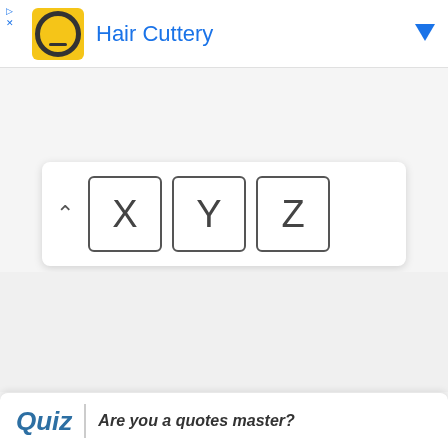[Figure (screenshot): Advertisement banner for Hair Cuttery with yellow logo icon, blue text title, and blue dropdown arrow]
[Figure (screenshot): Alphabet keyboard panel showing caret-up icon and letter keys X, Y, Z]
Quiz  Are you a quotes master?